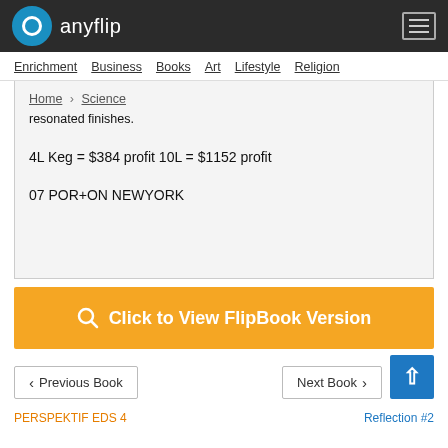anyflip
Enrichment  Business  Books  Art  Lifestyle  Religion
Home > Science
resonated finishes.
4L Keg = $384 profit 10L = $1152 profit
07 POR+ON NEWYORK
Click to View FlipBook Version
Previous Book   Next Book
PERSPEKTIF EDS 4   Reflection #2